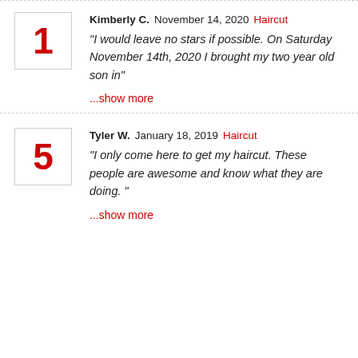1 | Kimberly C. | November 14, 2020 | Haircut | "I would leave no stars if possible. On Saturday November 14th, 2020 I brought my two year old son in" | ...show more
5 | Tyler W. | January 18, 2019 | Haircut | "I only come here to get my haircut. These people are awesome and know what they are doing. " | ...show more